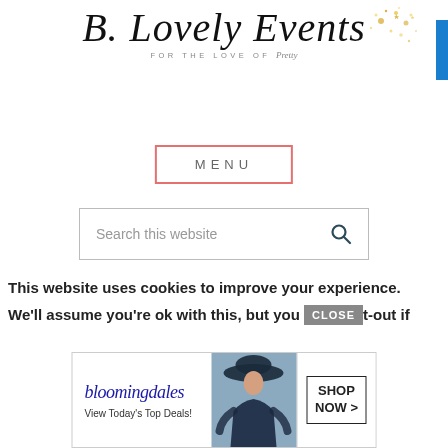[Figure (logo): B.Lovely Events script logo with subtitle 'FOR THE LOVE OF PRETTY' and gold sparkle decoration]
MENU
Search this website
This website uses cookies to improve your experience.
We'll assume you're ok with this, but you CLOSE t-out if
[Figure (screenshot): Bloomingdale's advertisement banner: 'bloomingdales View Today's Top Deals! SHOP NOW >']